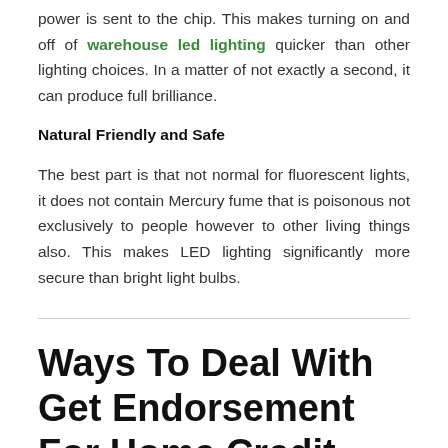power is sent to the chip. This makes turning on and off of warehouse led lighting quicker than other lighting choices. In a matter of not exactly a second, it can produce full brilliance.
Natural Friendly and Safe
The best part is that not normal for fluorescent lights, it does not contain Mercury fume that is poisonous not exclusively to people however to other living things also. This makes LED lighting significantly more secure than bright light bulbs.
Ways To Deal With Get Endorsement For Home Credit